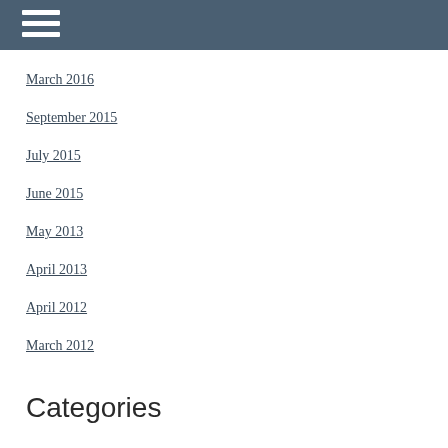March 2016
September 2015
July 2015
June 2015
May 2013
April 2013
April 2012
March 2012
Categories
All
Belief
Chittenden
Church
Doubt